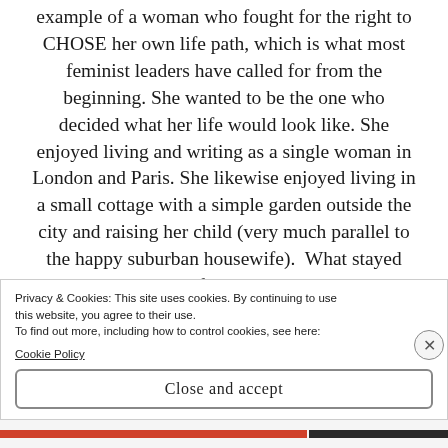example of a woman who fought for the right to CHOSE her own life path, which is what most feminist leaders have called for from the beginning. She wanted to be the one who decided what her life would look like. She enjoyed living and writing as a single woman in London and Paris. She likewise enjoyed living in a small cottage with a simple garden outside the city and raising her child (very much parallel to the happy suburban housewife).  What stayed constant in Mary's life was her passion to carve her own path, the high value she placed on
Privacy & Cookies: This site uses cookies. By continuing to use this website, you agree to their use.
To find out more, including how to control cookies, see here:
Cookie Policy
Close and accept